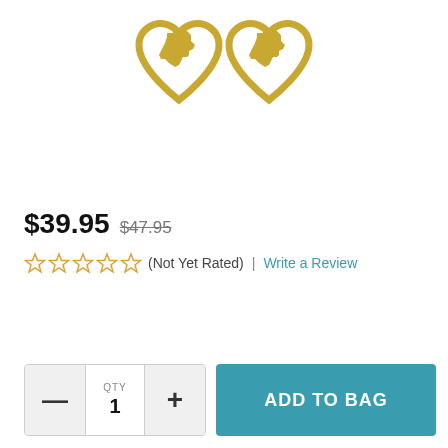[Figure (photo): Two gold heart-shaped earrings with Texas state silhouette cutout inside each heart, shown side by side on white background]
$39.95  $47.95
☆☆☆☆☆ (Not Yet Rated) | Write a Review
QTY 1  ADD TO BAG